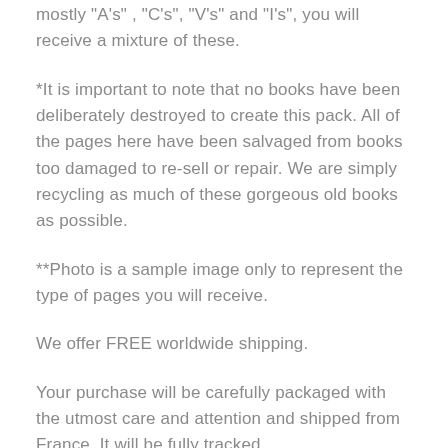mostly "A's" , "C's", "V's" and "I's", you will receive a mixture of these.
*It is important to note that no books have been deliberately destroyed to create this pack. All of the pages here have been salvaged from books too damaged to re-sell or repair. We are simply recycling as much of these gorgeous old books as possible.
**Photo is a sample image only to represent the type of pages you will receive.
We offer FREE worldwide shipping.
Your purchase will be carefully packaged with the utmost care and attention and shipped from France. It will be fully tracked.